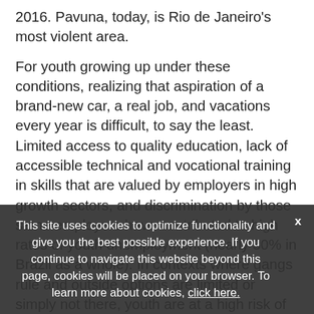2016. Pavuna, today, is Rio de Janeiro's most violent area.
For youth growing up under these conditions, realizing that aspiration of a brand-new car, a real job, and vacations every year is difficult, to say the least. Limited access to quality education, lack of accessible technical and vocational training in skills that are valued by employers in high growth sectors, and discrimination by those same employers have contributed to high rates of youth unemployment (nearly 30% in Brazil as a whole). In contexts where gangs rule and outside options are limited or simply not there, youth are at a high risk of associating with such criminal groups. Indeed, they have no other choice.
This site uses cookies to optimize functionality and give you the best possible experience. If you continue to navigate this website beyond this page, cookies will be placed on your browser. To learn more about cookies, click here.